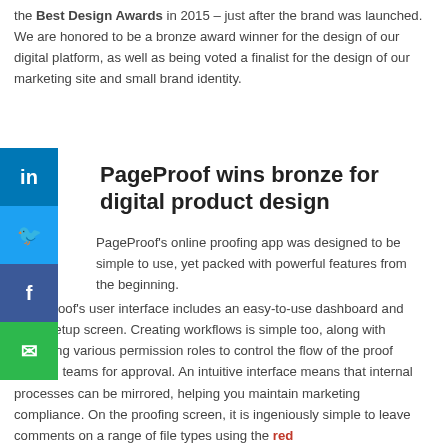the Best Design Awards in 2015 – just after the brand was launched. We are honored to be a bronze award winner for the design of our digital platform, as well as being voted a finalist for the design of our marketing site and small brand identity.
PageProof wins bronze for digital product design
PageProof's online proofing app was designed to be simple to use, yet packed with powerful features from the beginning. PageProof's user interface includes an easy-to-use dashboard and proof setup screen. Creating workflows is simple too, along with assigning various permission roles to control the flow of the proof through teams for approval. An intuitive interface means that internal processes can be mirrored, helping you maintain marketing compliance. On the proofing screen, it is ingeniously simple to leave comments on a range of file types using the red